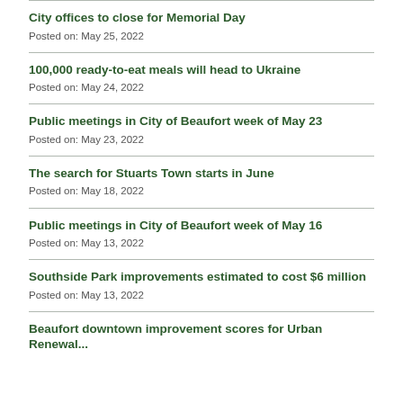City offices to close for Memorial Day
Posted on: May 25, 2022
100,000 ready-to-eat meals will head to Ukraine
Posted on: May 24, 2022
Public meetings in City of Beaufort week of May 23
Posted on: May 23, 2022
The search for Stuarts Town starts in June
Posted on: May 18, 2022
Public meetings in City of Beaufort week of May 16
Posted on: May 13, 2022
Southside Park improvements estimated to cost $6 million
Posted on: May 13, 2022
Beaufort downtown improvement...